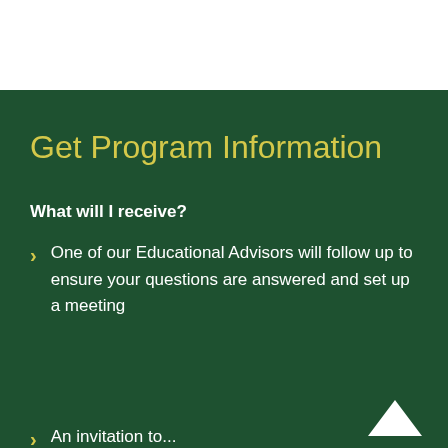Get Program Information
What will I receive?
One of our Educational Advisors will follow up to ensure your questions are answered and set up a meeting
An invitation to...